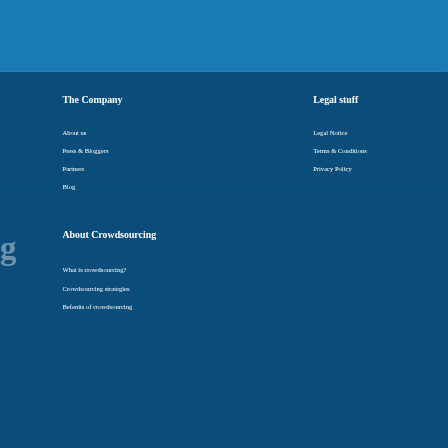The Company
About us
Press & Bloggers
Partners
Blog
Legal stuff
Legal Notice
Terms & Conditions
Privacy Policy
About Crowdsourcing
What is crowdsourcing?
Crowdsourcing strategies
Befenits of crowdsourcing